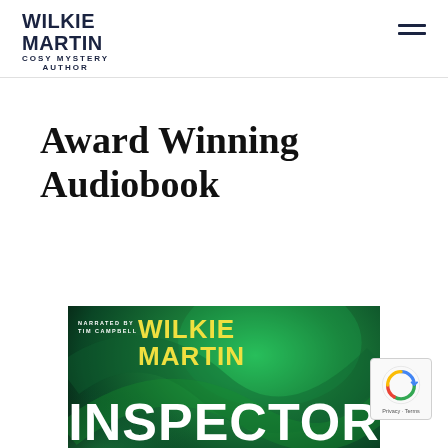WILKIE MARTIN COSY MYSTERY AUTHOR
Award Winning Audiobook
[Figure (photo): Book cover for Wilkie Martin's Inspector audiobook. Green swirling background. Text reads: NARRATED BY TIM CAMPBELL, WILKIE MARTIN, INSPECTOR. Yellow author name on teal/green background.]